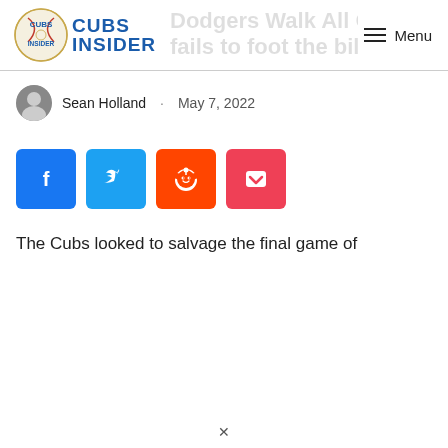Cubs Insider — Menu navigation bar with logo
Dodgers Walk All Over Cubs, fails to foot the bill
Sean Holland · May 7, 2022
[Figure (other): Social share buttons: Facebook, Twitter, Reddit, Pocket]
The Cubs looked to salvage the final game of